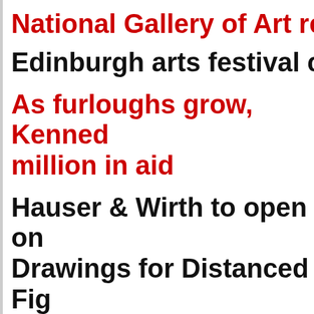National Gallery of Art retu…
Edinburgh arts festival can…
As furloughs grow, Kenned… million in aid
Hauser & Wirth to open on… Drawings for Distanced Fig…
Take a virtual tour of New Y…
Asuka Anastacia Ogawa jo…
Works by Maria Helena Vi…